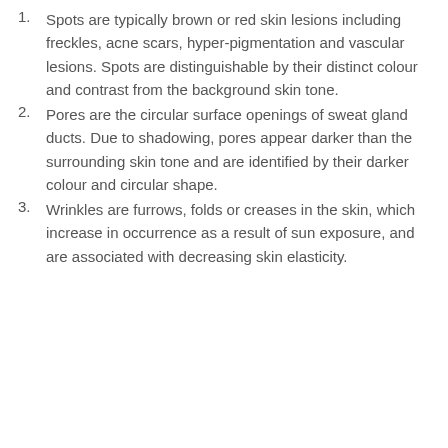Spots are typically brown or red skin lesions including freckles, acne scars, hyper-pigmentation and vascular lesions. Spots are distinguishable by their distinct colour and contrast from the background skin tone.
Pores are the circular surface openings of sweat gland ducts. Due to shadowing, pores appear darker than the surrounding skin tone and are identified by their darker colour and circular shape.
Wrinkles are furrows, folds or creases in the skin, which increase in occurrence as a result of sun exposure, and are associated with decreasing skin elasticity.